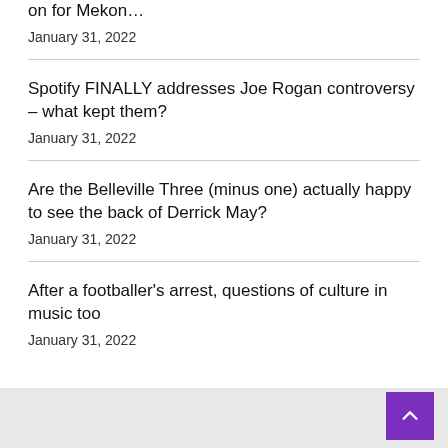on for Mekon…
January 31, 2022
Spotify FINALLY addresses Joe Rogan controversy – what kept them?
January 31, 2022
Are the Belleville Three (minus one) actually happy to see the back of Derrick May?
January 31, 2022
After a footballer's arrest, questions of culture in music too
January 31, 2022